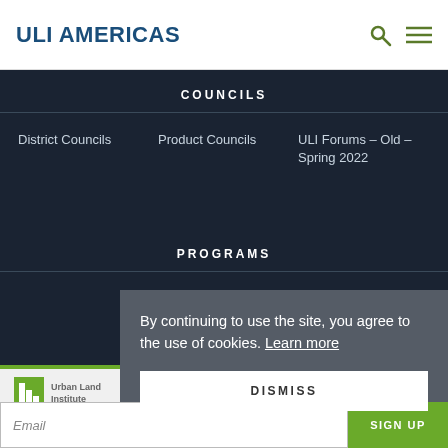ULI AMERICAS
COUNCILS
District Councils
Product Councils
ULI Forums – Old – Spring 2022
PROGRAMS
[Figure (screenshot): ULI Urban Land Institute logo]
Sign up for d… Land maga…
By continuing to use the site, you agree to the use of cookies. Learn more
DISMISS
Email
SIGN UP